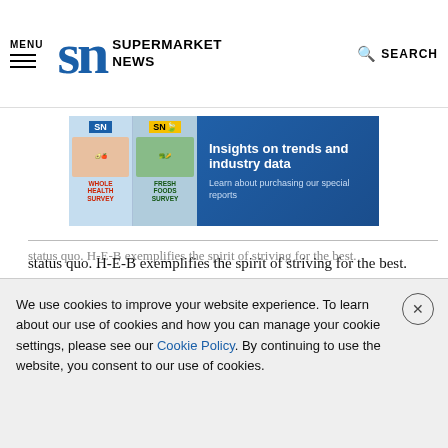MENU | SN SUPERMARKET NEWS | SEARCH
[Figure (infographic): SN Supermarket News ad banner showing Whole Health Survey and Fresh Foods Survey magazines with text: Insights on trends and industry data. Learn about purchasing our special reports.]
status quo. H-E-B exemplifies the spirit of striving for the best.
What examples of in-store innovation are you seeing in the market?
TAGS: PREPARED FOODS  PRIVATE LABEL
We use cookies to improve your website experience. To learn about our use of cookies and how you can manage your cookie settings, please see our Cookie Policy. By continuing to use the website, you consent to our use of cookies.